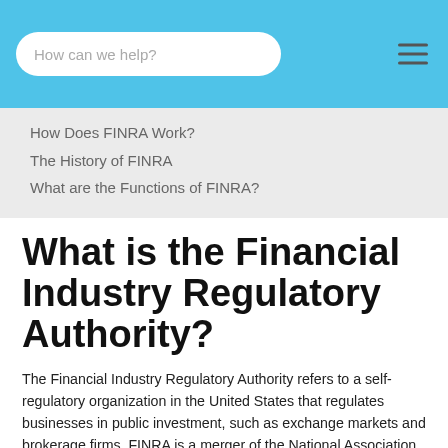How can we help?
How Does FINRA Work?
The History of FINRA
What are the Functions of FINRA?
What is the Financial Industry Regulatory Authority?
The Financial Industry Regulatory Authority refers to a self-regulatory organization in the United States that regulates businesses in public investment, such as exchange markets and brokerage firms. FINRA is a merger of the National Association of Securities Dealers and Regulatory Committee, on the New York Stock Exchange